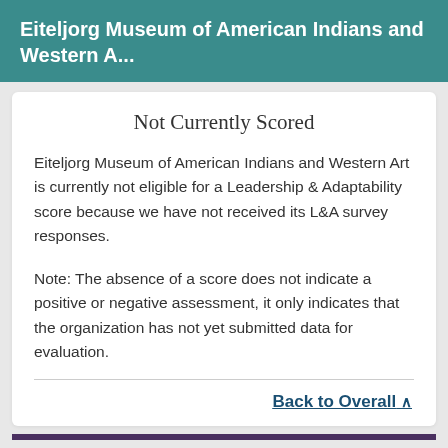Eiteljorg Museum of American Indians and Western A...
Not Currently Scored
Eiteljorg Museum of American Indians and Western Art is currently not eligible for a Leadership & Adaptability score because we have not received its L&A survey responses.
Note: The absence of a score does not indicate a positive or negative assessment, it only indicates that the organization has not yet submitted data for evaluation.
Back to Overall
Add to My Charities   Donate to this Charity